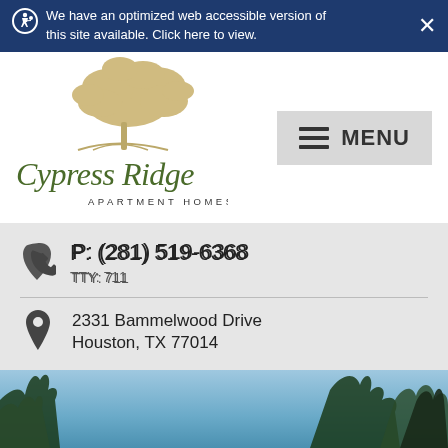We have an optimized web accessible version of this site available. Click here to view.
[Figure (logo): Cypress Ridge Apartment Homes logo with illustrated cypress tree in tan/gold and script text]
MENU
P: (281) 519-6368
TTY: 711
2331 Bammelwood Drive
Houston, TX 77014
[Figure (photo): Partial outdoor photo showing blue sky and trees at the bottom of the page]